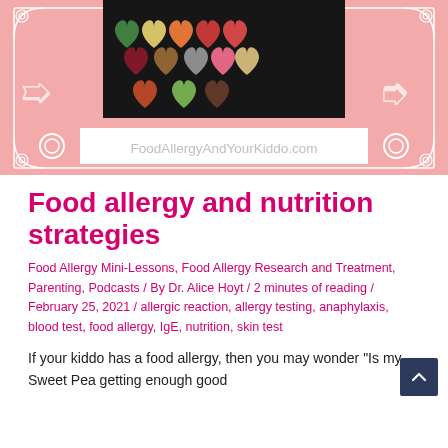[Figure (photo): Pink banner with heart-shaped bowls of various foods on black background, decorative white scroll border, and FoodAllergyAndYourKiddo.com website URL in white text]
Food allergy and nutrition strategies
Food Allergy Mini-Lessons, Food Allergy Research and Treatment, Parenting, Podcasts / By Dr. Alice Hoyt / 2 minutes of reading / February 25, 2021 / allergic reaction, allergy testing, anaphylaxis, blood test, food allergy, IgE, nutrition, skin test
If your kiddo has a food allergy, then you may wonder "Is my Sweet Pea getting enough good